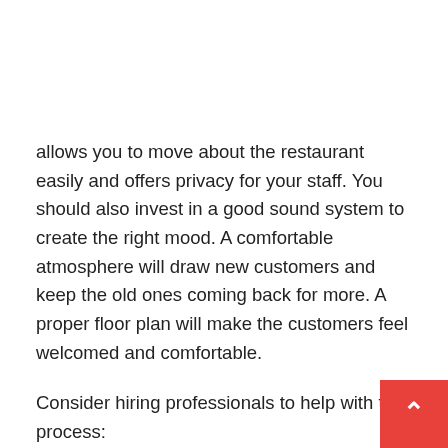allows you to move about the restaurant easily and offers privacy for your staff. You should also invest in a good sound system to create the right mood. A comfortable atmosphere will draw new customers and keep the old ones coming back for more. A proper floor plan will make the customers feel welcomed and comfortable.
Consider hiring professionals to help with the process:
While you can choose to do it yourself, you should also consider hiring professional restaurant consultants in Dubai to help you with the process. Depending on the size of your restaurant, you can hire a professional to come up with a